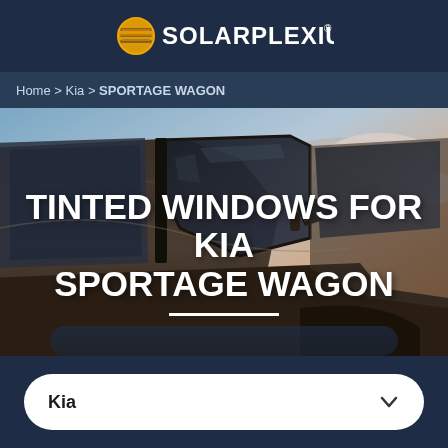SOLARPLEXIUS
Home > Kia > SPORTAGE WAGON
[Figure (photo): Close-up photo of a dark car window and side mirror with a dramatic cloudy sky background]
TINTED WINDOWS FOR KIA SPORTAGE WAGON
Kia